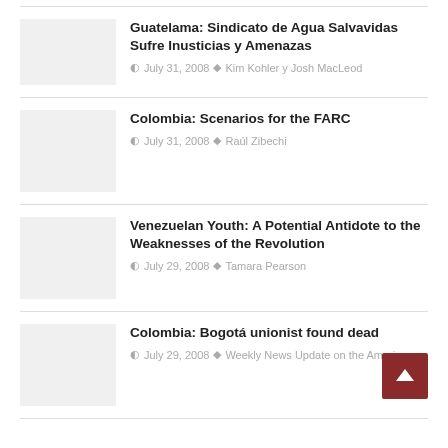Guatelama: Sindicato de Agua Salvavidas Sufre Inusticias y Amenazas
July 31, 2008  Kim Kohler y Josh MacLeod
Colombia: Scenarios for the FARC
July 31, 2008  Raúl Zibechi
Venezuelan Youth: A Potential Antidote to the Weaknesses of the Revolution
July 29, 2008  Tamara Pearson
Colombia: Bogotá unionist found dead
July 29, 2008  Weekly News Update on the Americas